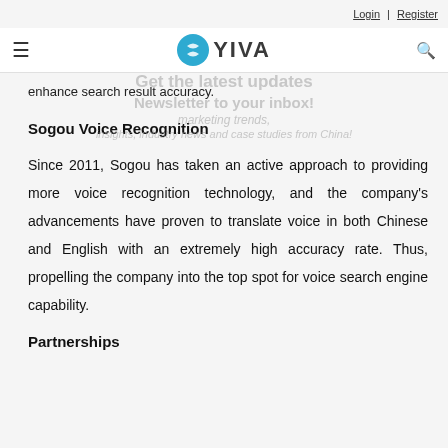Login | Register
[Figure (logo): YIVA logo with teal circular icon and hamburger menu]
enhance search result accuracy.
Sogou Voice Recognition
Since 2011, Sogou has taken an active approach to providing more voice recognition technology, and the company's advancements have proven to translate voice in both Chinese and English with an extremely high accuracy rate. Thus, propelling the company into the top spot for voice search engine capability.
Partnerships